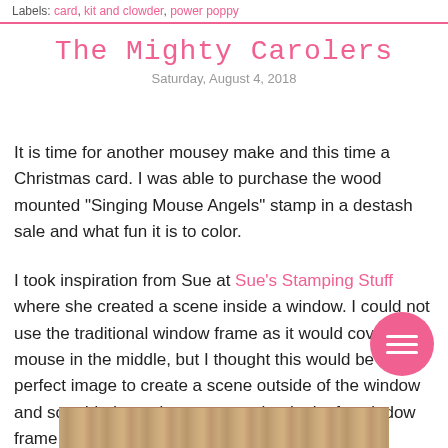Labels: card, kit and clowder, power poppy
The Mighty Carolers
Saturday, August 4, 2018
It is time for another mousey make and this time a Christmas card. I was able to purchase the wood mounted "Singing Mouse Angels" stamp in a destash sale and what fun it is to color.
I took inspiration from Sue at Sue's Stamping Stuff where she created a scene inside a window. I could not use the traditional window frame as it would cover the mouse in the middle, but I thought this would be a perfect image to create a scene outside of the window and so added curtains to create that look of a window frame.
[Figure (photo): Wood texture surface at the bottom of the page]